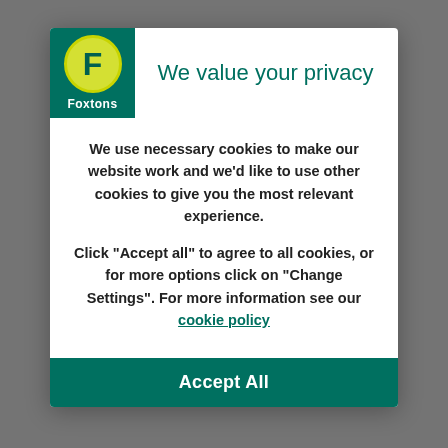[Figure (logo): Foxtons real estate logo: green square background with yellow circle containing letter F, and white Foxtons text below]
We value your privacy
We use necessary cookies to make our website work and we'd like to use other cookies to give you the most relevant experience.
Click “Accept all” to agree to all cookies, or for more options click on “Change Settings”. For more information see our cookie policy